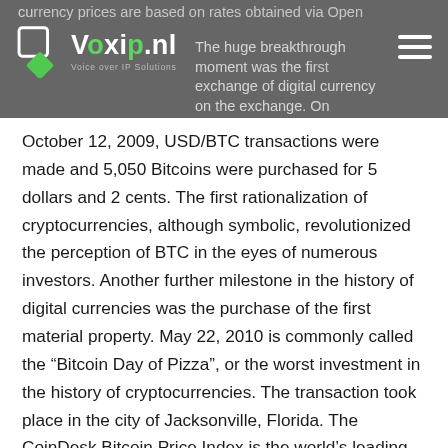currency prices are based on rates obtained via Open Exchange...The huge breakthrough moment was the first exchange of digital currency on the exchange. On
[Figure (logo): Voxip.nl logo with green diamond/square icon and tagline 'Voice over IP Solutions']
October 12, 2009, USD/BTC transactions were made and 5,050 Bitcoins were purchased for 5 dollars and 2 cents. The first rationalization of cryptocurrencies, although symbolic, revolutionized the perception of BTC in the eyes of numerous investors. Another further milestone in the history of digital currencies was the purchase of the first material property. May 22, 2010 is commonly called the “Bitcoin Day of Pizza”, or the worst investment in the history of cryptocurrencies. The transaction took place in the city of Jacksonville, Florida. The CoinDesk Bitcoin Price Index is the world’s leading reference for the price of bitcoin, used by the largest institutions active in crypto assets. It is the crypto market standard, benchmarking billions of dollars in registered financial products and pricing hundreds of millions in daily over-the-counter transactions.